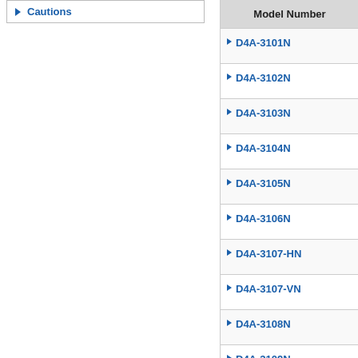Cautions
| Model Number |
| --- |
| D4A-3101N |
| D4A-3102N |
| D4A-3103N |
| D4A-3104N |
| D4A-3105N |
| D4A-3106N |
| D4A-3107-HN |
| D4A-3107-VN |
| D4A-3108N |
| D4A-3109N |